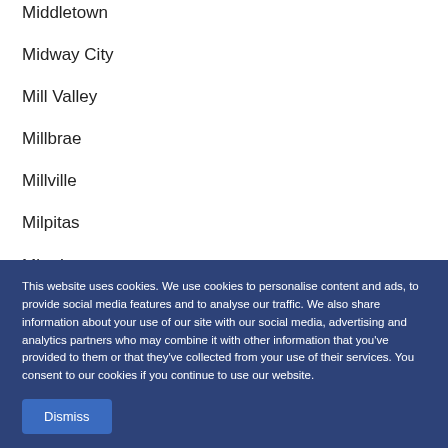Middletown
Midway City
Mill Valley
Millbrae
Millville
Milpitas
Mira Loma
Miramonte
Miranda
This website uses cookies. We use cookies to personalise content and ads, to provide social media features and to analyse our traffic. We also share information about your use of our site with our social media, advertising and analytics partners who may combine it with other information that you've provided to them or that they've collected from your use of their services. You consent to our cookies if you continue to use our website.
Dismiss